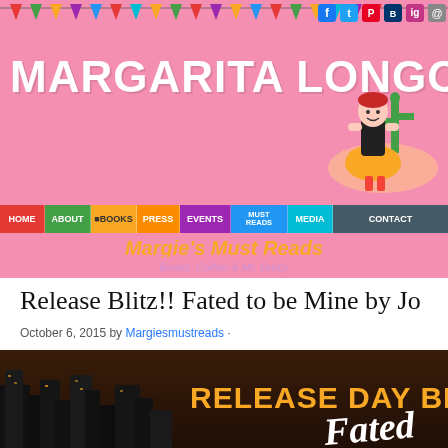[Figure (illustration): Website header banner with pink background, colorful papel picado bunting at top, social media icons (Facebook, Twitter, Pinterest, Bookbub, Instagram, Email) on top right, large white bold text 'MARGARITA LONGORIA' on left, illustrated cartoon woman character on right wearing yellow skirt and holding a book]
MARGARITA LONGORIA
[Figure (other): Navigation menu bar with colored blocks: HOME (red), ABOUT (green), BOOKS (yellow), PRESS (orange), EVENTS (purple), MUST READS (blue), MEDIA (teal), CONTACT (dark gray)]
Margie's Must Reads
Books, Coffee & Mr. Darcy
Release Blitz!! Fated to be Mine by Jo
October 6, 2015 by Margiesmustreads ·
[Figure (photo): Dark cityscape at night with text overlay 'RELEASE DAY BL' in large bold yellow letters and 'Fated' in large white italic script below]